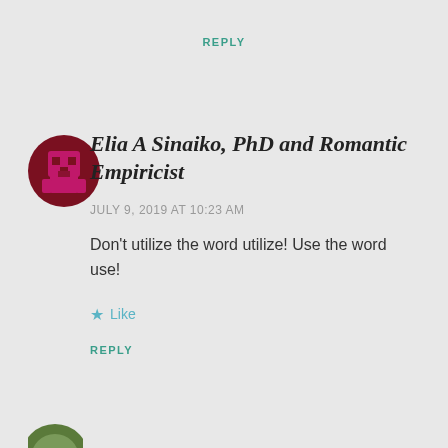REPLY
[Figure (illustration): Pixelated avatar icon: dark red/maroon circle with a pink/magenta robot or character face made of pixel blocks]
Elia A Sinaiko, PhD and Romantic Empiricist
JULY 9, 2019 AT 10:23 AM
Don't utilize the word utilize! Use the word use!
★ Like
REPLY
[Figure (illustration): Partial circular avatar visible at bottom left, appears to be a photo-based avatar]